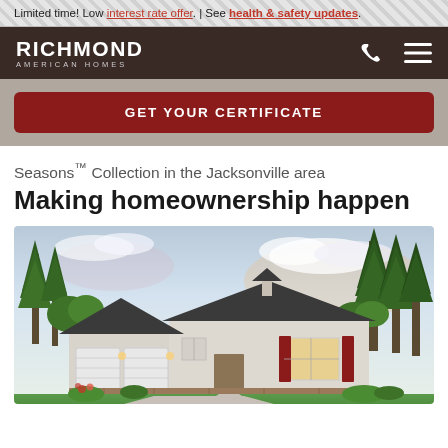Limited time! Low interest rate offer. | See health & safety updates.
[Figure (logo): Richmond American Homes logo on dark brown navigation bar with phone and hamburger menu icons]
GET YOUR CERTIFICATE
Seasons™ Collection in the Jacksonville area
Making homeownership happen
[Figure (photo): Exterior photo of a Richmond American Homes single-story house with two-car garage, light siding, dark roof, red shutters, manicured lawn, and tall pine trees in background at dusk]